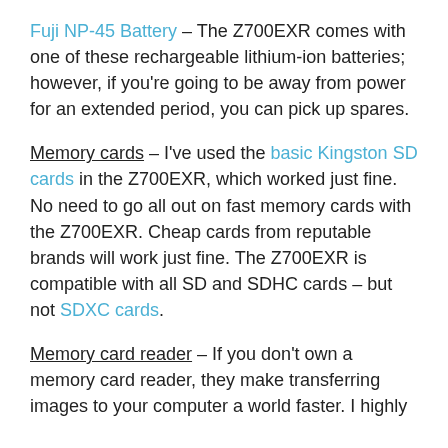Fuji NP-45 Battery – The Z700EXR comes with one of these rechargeable lithium-ion batteries; however, if you're going to be away from power for an extended period, you can pick up spares.
Memory cards – I've used the basic Kingston SD cards in the Z700EXR, which worked just fine. No need to go all out on fast memory cards with the Z700EXR. Cheap cards from reputable brands will work just fine. The Z700EXR is compatible with all SD and SDHC cards – but not SDXC cards.
Memory card reader – If you don't own a memory card reader, they make transferring images to your computer a world faster. I highly